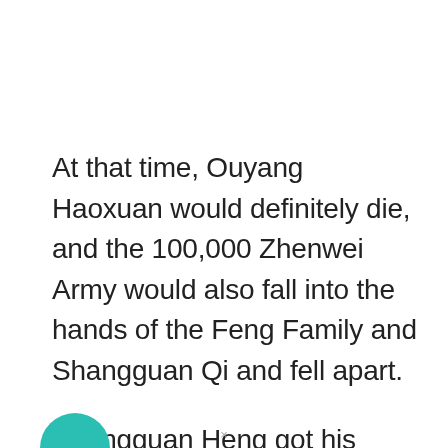At that time, Ouyang Haoxuan would definitely die, and the 100,000 Zhenwei Army would also fall into the hands of the Feng Family and Shangguan Qi and fell apart.
Shangguan Heng got his father's approval and immediately turned and walked outside the palace.